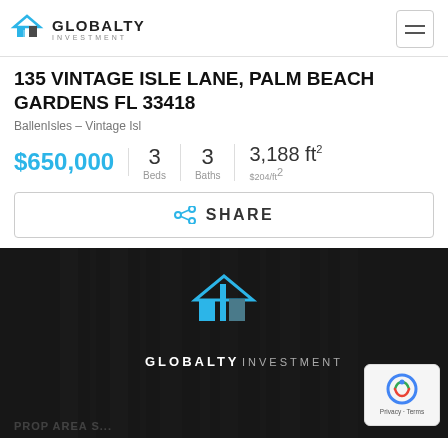GLOBALTY INVESTMENT
135 VINTAGE ISLE LANE, PALM BEACH GARDENS FL 33418
BallenIsles – Vintage Isl
$650,000 | 3 Beds | 3 Baths | 3,188 ft² $204/ft²
< SHARE
[Figure (photo): Dark property photo with Globalty Investment logo overlay and reCAPTCHA badge]